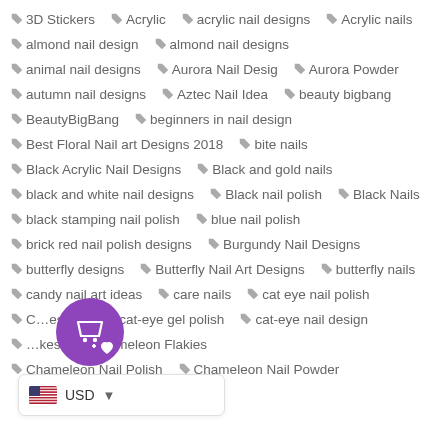3D Stickers
Acrylic
acrylic nail designs
Acrylic nails
almond nail design
almond nail designs
animal nail designs
Aurora Nail Desig
Aurora Powder
autumn nail designs
Aztec Nail Idea
beauty bigbang
BeautyBigBang
beginners in nail design
Best Floral Nail art Designs 2018
bite nails
Black Acrylic Nail Designs
Black and gold nails
black and white nail designs
Black nail polish
Black Nails
black stamping nail polish
blue nail polish
brick red nail polish designs
Burgundy Nail Designs
butterfly designs
Butterfly Nail Art Designs
butterfly nails
candy nail art ideas
care nails
cat eye nail polish
C...designs
cat-eye gel polish
cat-eye nail design
...kes
Chameleon Flakies
Chameleon Nail Polish
Chameleon Nail Powder